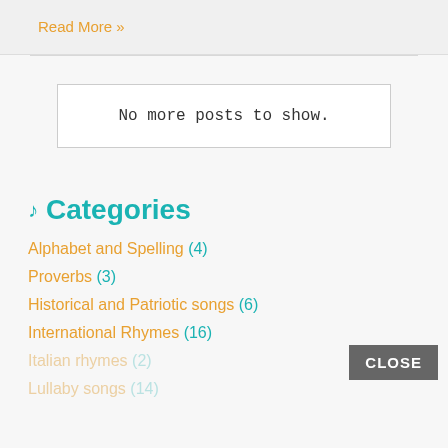Read More »
No more posts to show.
♪ Categories
Alphabet and Spelling (4)
Proverbs (3)
Historical and Patriotic songs (6)
International Rhymes (16)
Italian rhymes (2)
Lullaby songs (14)